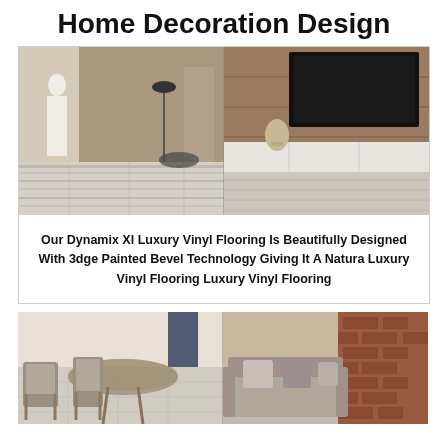Home Decoration Design
[Figure (photo): Interior room scene with vinyl flooring — split image: left shows a person in white robe standing by window with light wood plank floor; right shows a living room with brown wood-paneled TV wall, white media console, and a classical bust sculpture]
Our Dynamix Xl Luxury Vinyl Flooring Is Beautifully Designed With 3dge Painted Bevel Technology Giving It A Natura Luxury Vinyl Flooring Luxury Vinyl Flooring
[Figure (photo): Interior room scene — split image: left shows a dining area with wooden chairs and a glass-topped table; right shows a living room with a beige sofa, decorative pillows, and a brick accent wall]